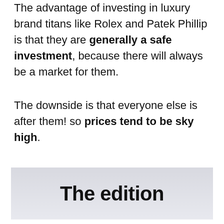The advantage of investing in luxury brand titans like Rolex and Patek Phillip is that they are generally a safe investment, because there will always be a market for them.
The downside is that everyone else is after them! so prices tend to be sky high.
[Figure (other): A light grey gradient banner containing bold black text reading 'The edition']